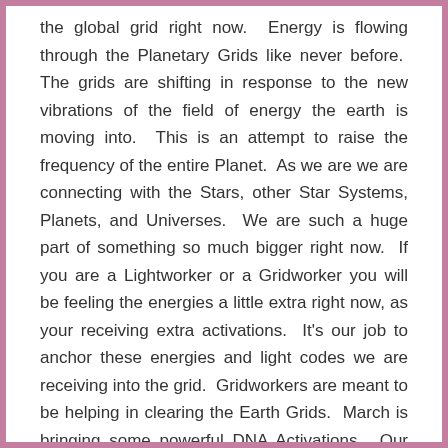the global grid right now.  Energy is flowing through the Planetary Grids like never before.  The grids are shifting in response to the new vibrations of the field of energy the earth is moving into.  This is an attempt to raise the frequency of the entire Planet.  As we are we are connecting with the Stars, other Star Systems, Planets, and Universes.  We are such a huge part of something so much bigger right now.  If you are a Lightworker or a Gridworker you will be feeling the energies a little extra right now, as your receiving extra activations.  It's our job to anchor these energies and light codes we are receiving into the grid.  Gridworkers are meant to be helping in clearing the Earth Grids.  March is bringing some powerful DNA Activations.  Our Divine Blueprints are coming online.  That's why the Energies of the Equinox are so powerful to be using for healing.  We are experiencing a collective awakening.  As new